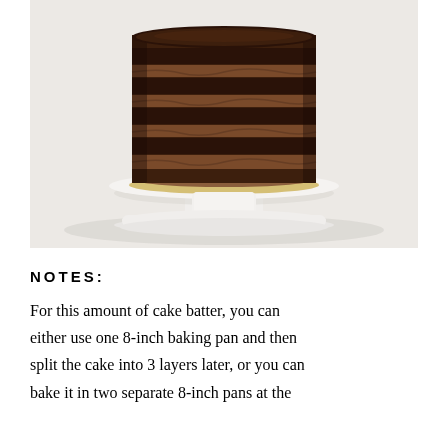[Figure (photo): A layered chocolate cake with chocolate frosting between layers, displayed on a white pedestal cake stand against a light background. The cake shows alternating dark chocolate cake layers and brown chocolate frosting stripes in a naked cake style.]
NOTES:
For this amount of cake batter, you can either use one 8-inch baking pan and then split the cake into 3 layers later, or you can bake it in two separate 8-inch pans at the